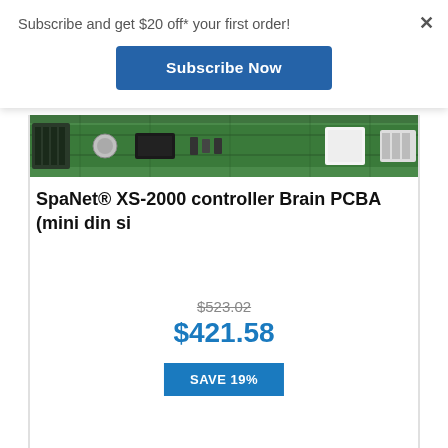Subscribe and get $20 off* your first order!
Subscribe Now
[Figure (photo): PCB circuit board strip showing green printed circuit board with components, partial view of SpaNet XS-2000 controller brain PCBA]
SpaNet® XS-2000 controller Brain PCBA (mini din si
$523.02
$421.58
SAVE 19%